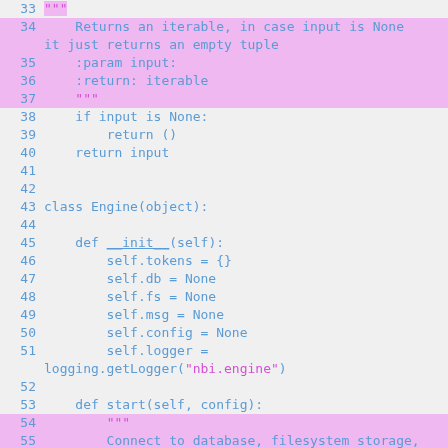[Figure (screenshot): Python source code snippet showing lines 33-55, with docstring and class Engine definition including __init__ and start methods. Highlighted lines use pink background for docstring content.]